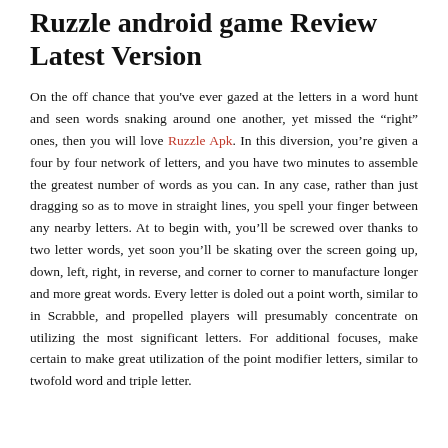Ruzzle android game Review Latest Version
On the off chance that you've ever gazed at the letters in a word hunt and seen words snaking around one another, yet missed the “right” ones, then you will love Ruzzle Apk. In this diversion, you’re given a four by four network of letters, and you have two minutes to assemble the greatest number of words as you can. In any case, rather than just dragging so as to move in straight lines, you spell your finger between any nearby letters. At to begin with, you’ll be screwed over thanks to two letter words, yet soon you’ll be skating over the screen going up, down, left, right, in reverse, and corner to corner to manufacture longer and more great words. Every letter is doled out a point worth, similar to in Scrabble, and propelled players will presumably concentrate on utilizing the most significant letters. For additional focuses, make certain to make great utilization of the point modifier letters, similar to twofold word and triple letter.